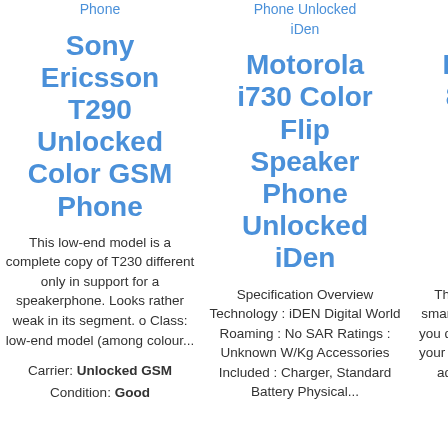Phone
Phone Unlocked iDen
Bluetooth Camera Phone Unlocked
Sony Ericsson T290 Unlocked Color GSM Phone
Motorola i730 Color Flip Speaker Phone Unlocked iDen
Blackberry 8120 Pearl WiFi Bluetooth Camera Phone Unlocked
This low-end model is a complete copy of T230 different only in support for a speakerphone. Looks rather weak in its segment. o Class: low-end model (among colour...
Specification Overview Technology : iDEN Digital World Roaming : No SAR Ratings : Unknown W/Kg Accessories Included : Charger, Standard Battery Physical...
The BlackBerry Pearl 8120 smartphone is designed to help you do everything you want with your life. It comes complete with advanced phone features, multimedia,...
Carrier: Unlocked GSM Condition: Good